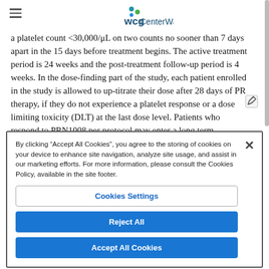WCG CenterWatch
a platelet count <30,000/μL on two counts no sooner than 7 days apart in the 15 days before treatment begins. The active treatment period is 24 weeks and the post-treatment follow-up period is 4 weeks. In the dose-finding part of the study, each patient enrolled in the study is allowed to up-titrate their dose after 28 days of PR therapy, if they do not experience a platelet response or a dose limiting toxicity (DLT) at the last dose level. Patients who respond to PRN1008 per protocol may enter a long term-extension.
By clicking "Accept All Cookies", you agree to the storing of cookies on your device to enhance site navigation, analyze site usage, and assist in our marketing efforts. For more information, please consult the Cookies Policy, available in the site footer.
Cookies Settings
Reject All
Accept All Cookies